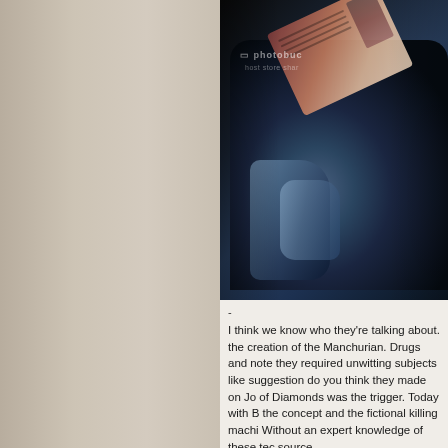[Figure (photo): Dark close-up photograph of a blue metallic armored glove/gauntlet holding what appears to be a playing card. A Photobucket watermark is visible. The background is very dark/black.]
-
I think we know who they're talking about. the creation of the Manchurian. Drugs and note they required unwitting subjects like suggestion do you think they made on Jo of Diamonds was the trigger. Today with B the concept and the fictional killing machi Without an expert knowledge of these tec source.